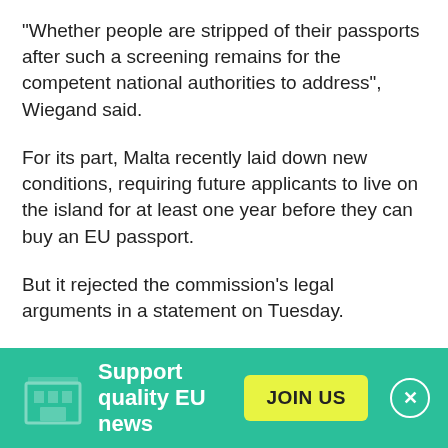"Whether people are stripped of their passports after such a screening remains for the competent national authorities to address", Wiegand said.
For its part, Malta recently laid down new conditions, requiring future applicants to live on the island for at least one year before they can buy an EU passport.
But it rejected the commission's legal arguments in a statement on Tuesday.
"The government reiterates that citizenship is a member state competence, whereby every European country decides on its own who are the individuals which it
[Figure (infographic): Green banner advertisement: 'Support quality EU news' with a yellow JOIN US button and a close (X) button. Background shows a faint building/institution icon.]